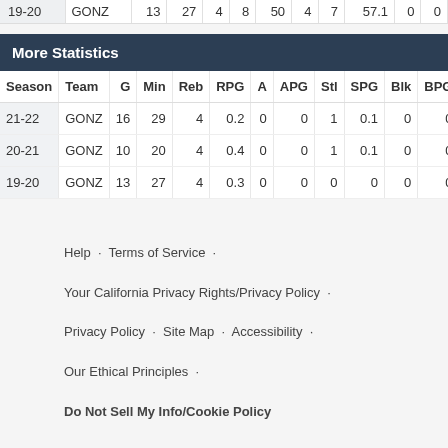| Season | Team | G | Min | Reb | RPG | A | APG | Stl | SPG | Blk | BPG | TO |
| --- | --- | --- | --- | --- | --- | --- | --- | --- | --- | --- | --- | --- |
| 19-20 | GONZ | 13 | 27 | 4 | 8 | 50 | 4 | 7 | 57.1 | 0 | 0 |  |
More Statistics
| Season | Team | G | Min | Reb | RPG | A | APG | Stl | SPG | Blk | BPG | TO |
| --- | --- | --- | --- | --- | --- | --- | --- | --- | --- | --- | --- | --- |
| 21-22 | GONZ | 16 | 29 | 4 | 0.2 | 0 | 0 | 1 | 0.1 | 0 | 0 | 1 |
| 20-21 | GONZ | 10 | 20 | 4 | 0.4 | 0 | 0 | 1 | 0.1 | 0 | 0 | 0 |
| 19-20 | GONZ | 13 | 27 | 4 | 0.3 | 0 | 0 | 0 | 0 | 0 | 0 | 0 |
Help · Terms of Service · Your California Privacy Rights/Privacy Policy · Privacy Policy · Site Map · Accessibility · Our Ethical Principles · Do Not Sell My Info/Cookie Policy